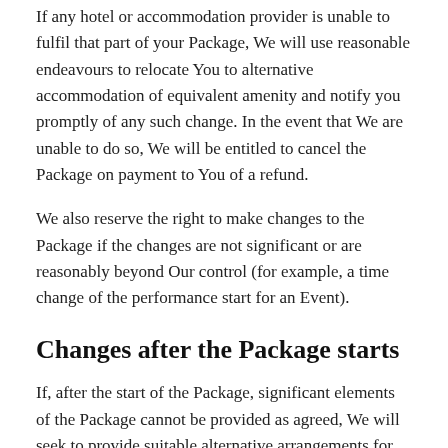If any hotel or accommodation provider is unable to fulfil that part of your Package, We will use reasonable endeavours to relocate You to alternative accommodation of equivalent amenity and notify you promptly of any such change. In the event that We are unable to do so, We will be entitled to cancel the Package on payment to You of a refund.
We also reserve the right to make changes to the Package if the changes are not significant or are reasonably beyond Our control (for example, a time change of the performance start for an Event).
Changes after the Package starts
If, after the start of the Package, significant elements of the Package cannot be provided as agreed, We will seek to provide suitable alternative arrangements for You at no extra cost. If this is not possible, We will cancel the Package and issue a refund to You.
Data Protection